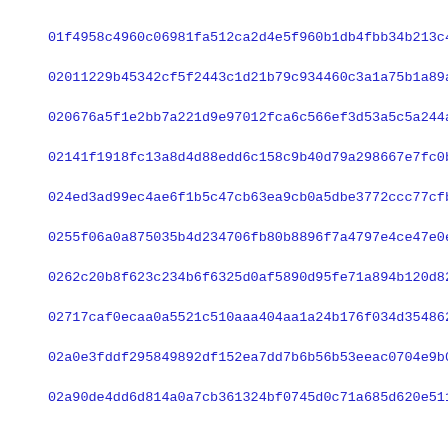01f4958c4960c06981fa512ca2d4e5f960b1db4fbb34b213c44b48cbb0d9b
02011229b45342cf5f2443c1d21b79c934460c3a1a75b1a89a4b2eb3e3de3
020676a5f1e2bb7a221d9e97012fca6c566ef3d53a5c5a244a173d15d696c
02141f1918fc13a8d4d88edd6c158c9b40d79a298667e7fc0b98db8bcbbad
024ed3ad99ec4ae6f1b5c47cb63ea9cb0a5dbe3772ccc77cfbcc05ca376ec
0255f06a0a875035b4d234706fb80b8896f7a4797e4ce47e0e4ecaffd9398
0262c20b8f623c234b6f6325d0af5890d95fe71a894b120d82200ee688199
02717caf0ecaa0a5521c510aaa404aa1a24b176f034d354862563d7aef423
02a0e3fddf295849892df152ea7dd7b6b56b53eeac0704e9b06834e883439
02a90de4dd6d814a0a7cb361324bf0745d0c71a685d620e511264846f5786